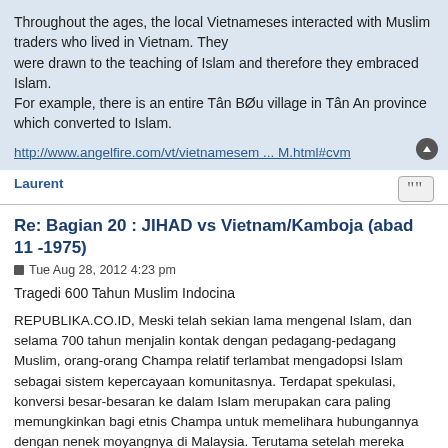Throughout the ages, the local Vietnameses interacted with Muslim traders who lived in Vietnam. They were drawn to the teaching of Islam and therefore they embraced Islam. For example, there is an entire Tân BØu village in Tân An province which converted to Islam.
http://www.angelfire.com/vt/vietnamesem ... M.html#cvm
Laurent
Re: Bagian 20 : JIHAD vs Vietnam/Kamboja (abad 11 -1975)
Tue Aug 28, 2012 4:23 pm
Tragedi 600 Tahun Muslim Indocina
REPUBLIKA.CO.ID, Meski telah sekian lama mengenal Islam, dan selama 700 tahun menjalin kontak dengan pedagang-pedagang Muslim, orang-orang Champa relatif terlambat mengadopsi Islam sebagai sistem kepercayaan komunitasnya. Terdapat spekulasi, konversi besar-besaran ke dalam Islam merupakan cara paling memungkinkan bagi etnis Champa untuk memelihara hubungannya dengan nenek moyangnya di Malaysia. Terutama setelah mereka kehilangan kontrol atas nasib mereka akibat kekalahan dalam perang Annam-Champa.